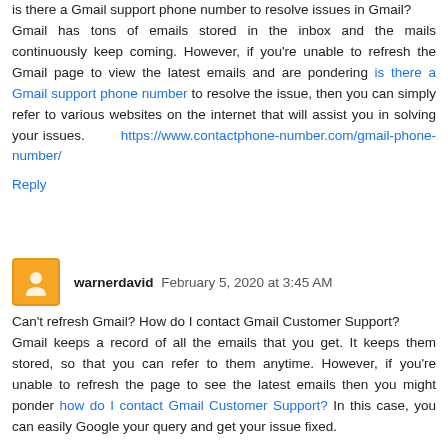is there a Gmail support phone number to resolve issues in Gmail? Gmail has tons of emails stored in the inbox and the mails continuously keep coming. However, if you're unable to refresh the Gmail page to view the latest emails and are pondering is there a Gmail support phone number to resolve the issue, then you can simply refer to various websites on the internet that will assist you in solving your issues. https://www.contactphone-number.com/gmail-phone-number/
Reply
warnerdavid  February 5, 2020 at 3:45 AM
Can't refresh Gmail? How do I contact Gmail Customer Support? Gmail keeps a record of all the emails that you get. It keeps them stored, so that you can refer to them anytime. However, if you're unable to refresh the page to see the latest emails then you might ponder how do I contact Gmail Customer Support? In this case, you can easily Google your query and get your issue fixed.